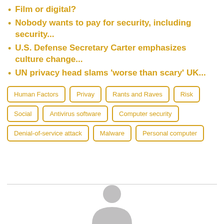Film or digital?
Nobody wants to pay for security, including security...
U.S. Defense Secretary Carter emphasizes culture change...
UN privacy head slams 'worse than scary' UK...
[Figure (infographic): Tag cloud with bordered labels: Human Factors, Privay, Rants and Raves, Risk, Social, Antivirus software, Computer security, Denial-of-service attack, Malware, Personal computer]
[Figure (illustration): Grey avatar/person silhouette icon at the bottom center of the page]